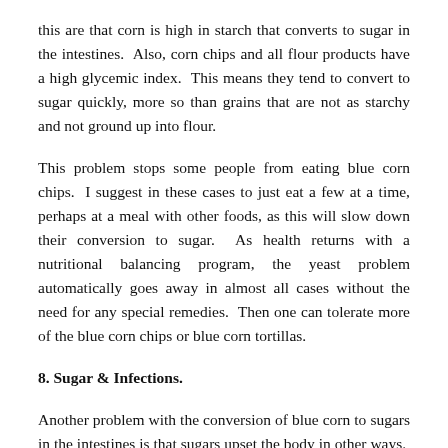this are that corn is high in starch that converts to sugar in the intestines. Also, corn chips and all flour products have a high glycemic index. This means they tend to convert to sugar quickly, more so than grains that are not as starchy and not ground up into flour.
This problem stops some people from eating blue corn chips. I suggest in these cases to just eat a few at a time, perhaps at a meal with other foods, as this will slow down their conversion to sugar. As health returns with a nutritional balancing program, the yeast problem automatically goes away in almost all cases without the need for any special remedies. Then one can tolerate more of the blue corn chips or blue corn tortillas.
8. Sugar & Infections.
Another problem with the conversion of blue corn to sugars in the intestines is that sugars upset the body in other ways. Sugars can upset the calcium/phosphorus balance, and they can feed other types of bacteria, viruses